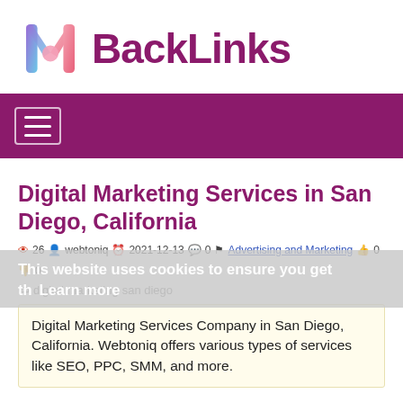[Figure (logo): MBackLinks logo with colorful M icon and purple BackLinks text]
Digital Marketing Services in San Diego, California
26  webtoniq  2021-12-13  0  Advertising and Marketing  0  0
digital marketing  san diego
Digital Marketing Services Company in San Diego, California. Webtoniq offers various types of services like SEO, PPC, SMM, and more.